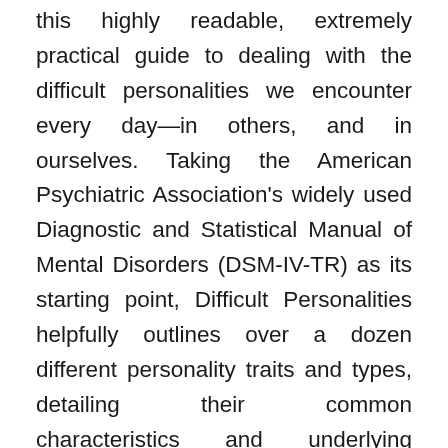this highly readable, extremely practical guide to dealing with the difficult personalities we encounter every day—in others, and in ourselves. Taking the American Psychiatric Association's widely used Diagnostic and Statistical Manual of Mental Disorders (DSM-IV-TR) as its starting point, Difficult Personalities helpfully outlines over a dozen different personality traits and types, detailing their common characteristics and underlying motivations. It also equips readers with numerous strategies for dealing with difficult behavior, including: • Anger and conflict management • Optimism and assertion training • Rational and empathic thinking • Reexamining your own personality. Readers will also benefit from sections on making difficult decisions and